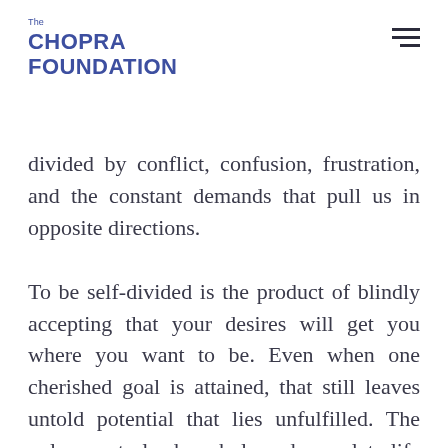The CHOPRA FOUNDATION
divided by conflict, confusion, frustration, and the constant demands that pull us in opposite directions.
To be self-divided is the product of blindly accepting that your desires will get you where you want to be. Even when one cherished goal is attained, that still leaves untold potential that lies unfulfilled. The only way to lead a whole and complete life is to be whole and complete yourself. This, finally, is the best path in life, which can be called for the sake of simplicity the path of the self. I'm not endorsing selfishness and egotism. The path of the self is a lifelong quest to